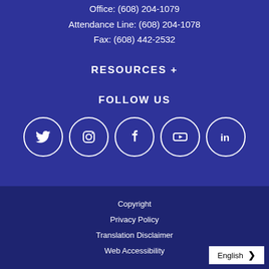Office: (608) 204-1079
Attendance Line: (608) 204-1078
Fax: (608) 442-2532
RESOURCES +
FOLLOW US
[Figure (infographic): Five social media icons in white circles: Twitter, Instagram, Facebook, YouTube, LinkedIn]
Copyright
Privacy Policy
Translation Disclaimer
Web Accessibility
English >